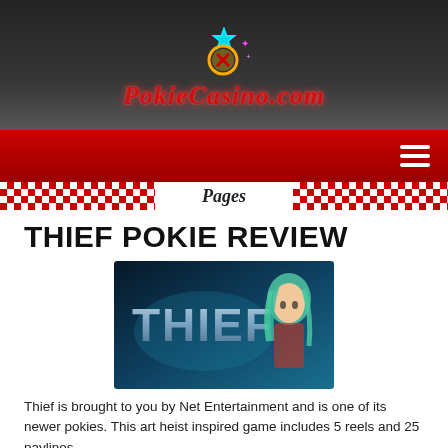[Figure (logo): PokieCasino.com logo with neon-style icon (star, coin with X, sparkles) above stylized italic red text 'PokieCasino.com' on dark background]
Navigation bar with hamburger menu icon on red background
Pages
THIEF POKIE REVIEW
[Figure (screenshot): Thief pokie game promotional image showing 'THIEF' text in metallic 3D letters with a female character (green/teal hair) on a blue-lit background]
Thief is brought to you by Net Entertainment and is one of its newer pokies. This art heist inspired game includes 5 reels and 25 paylines.